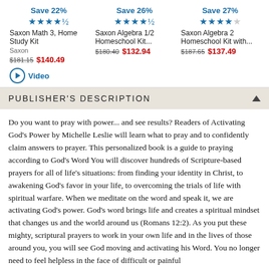[Figure (other): Product listing: Saxon Math 3, Home Study Kit — Save 22%, 4.5 stars, Saxon, $181.15 $140.49, Video button]
[Figure (other): Product listing: Saxon Algebra 1/2 Homeschool Kit... — Save 26%, 4.5 stars, $180.40 $132.94]
[Figure (other): Product listing: Saxon Algebra 2 Homeschool Kit with... — Save 27%, 4 stars, $187.65 $137.49]
PUBLISHER'S DESCRIPTION
Do you want to pray with power... and see results? Readers of Activating God's Power by Michelle Leslie will learn what to pray and to confidently claim answers to prayer. This personalized book is a guide to praying according to God's Word You will discover hundreds of Scripture-based prayers for all of life's situations: from finding your identity in Christ, to awakening God's favor in your life, to overcoming the trials of life with spiritual warfare. When we meditate on the word and speak it, we are activating God's power. God's word brings life and creates a spiritual mindset that changes us and the world around us (Romans 12:2). As you put these mighty, scriptural prayers to work in your own life and in the lives of those around you, you will see God moving and activating his Word. You no longer need to feel helpless in the face of difficult or painful